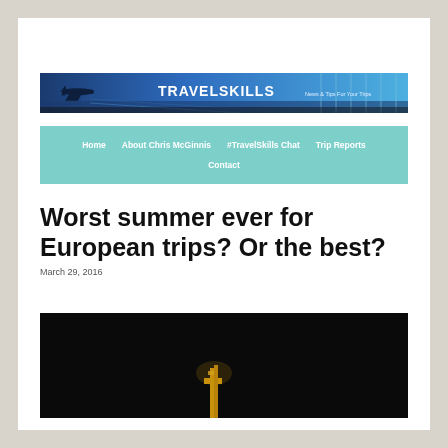[Figure (logo): TravelSkills banner with airplane silhouette on blue runway background, text TRAVELSKILLS News & Tips For Your Trips]
Home  About Chris McGinnis  #TravelSkills Chat  Trip Reports  Contact
Worst summer ever for European trips? Or the best?
March 29, 2016
[Figure (photo): Dark image with golden structure visible at bottom, partially cut off]